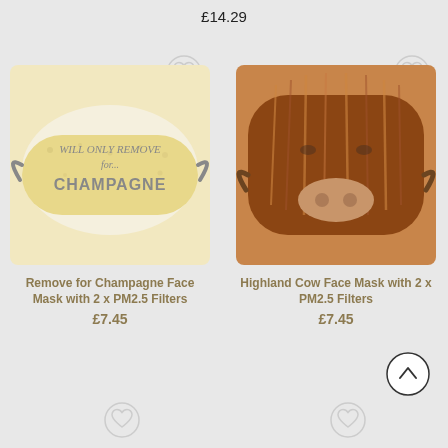£14.29
[Figure (photo): Face mask with 'Will Only Remove for... CHAMPAGNE' text on a champagne/bubbles background]
[Figure (photo): Face mask printed with close-up photo of a Highland Cow face with long brown fur]
Remove for Champagne Face Mask with 2 x PM2.5 Filters
£7.45
Highland Cow Face Mask with 2 x PM2.5 Filters
£7.45